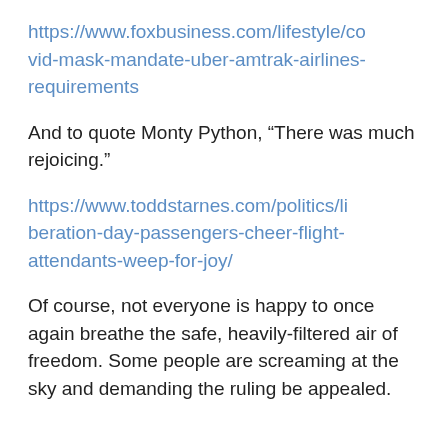https://www.foxbusiness.com/lifestyle/covid-mask-mandate-uber-amtrak-airlines-requirements
And to quote Monty Python, “There was much rejoicing.”
https://www.toddstarnes.com/politics/liberation-day-passengers-cheer-flight-attendants-weep-for-joy/
Of course, not everyone is happy to once again breathe the safe, heavily-filtered air of freedom. Some people are screaming at the sky and demanding the ruling be appealed.